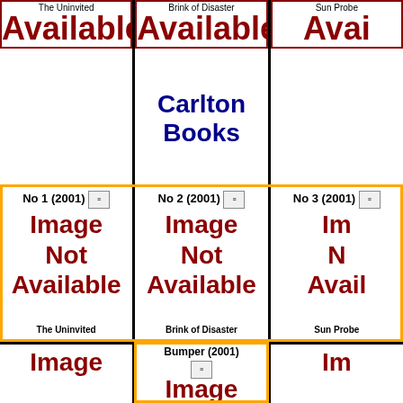Available
The Uninvited
Available
Brink of Disaster
Avai...
Sun Probe
Carlton Books
[Figure (other): Image Not Available placeholder - No 1 (2001), The Uninvited]
[Figure (other): Image Not Available placeholder - No 2 (2001), Brink of Disaster]
[Figure (other): Image Not Available placeholder - No 3 (2001), Sun Probe]
[Figure (other): Image Not Available placeholder - Bumper (2001)]
[Figure (other): Image Not Available placeholder - bottom left]
[Figure (other): Image Not Available placeholder - bottom right]